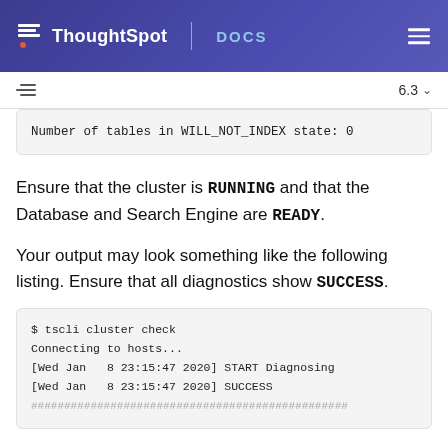ThoughtSpot DOCS
6.3
Number of tables in WILL_NOT_INDEX state: 0
Ensure that the cluster is RUNNING and that the Database and Search Engine are READY.
Your output may look something like the following listing. Ensure that all diagnostics show SUCCESS.
$ tscli cluster check
Connecting to hosts...
[Wed Jan  8 23:15:47 2020] START Diagnosing
[Wed Jan  8 23:15:47 2020] SUCCESS
################################################